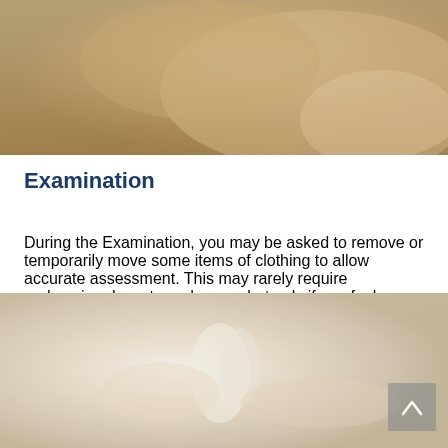[Figure (photo): Close-up photo of a person's shoulder/arm area, skin visible, medical examination context]
Examination
During the Examination, you may be asked to remove or temporarily move some items of clothing to allow accurate assessment. This may rarely require undressing down to underwear but only if you feel comfortable doing this. To aid an effective examination and reduce any embarrassment, please feel free to bring shorts and or a vest to change into. There will be room and time to change if necessary.
[Figure (photo): Hands holding a white spine/vertebrae model, medical examination context]